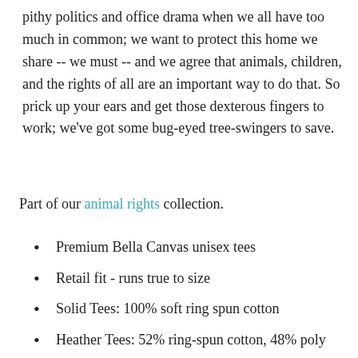pithy politics and office drama when we all have too much in common; we want to protect this home we share -- we must -- and we agree that animals, children, and the rights of all are an important way to do that. So prick up your ears and get those dexterous fingers to work; we've got some bug-eyed tree-swingers to save.
Part of our animal rights collection.
Premium Bella Canvas unisex tees
Retail fit - runs true to size
Solid Tees: 100% soft ring spun cotton
Heather Tees: 52% ring-spun cotton, 48% poly
Light weight fabric with tear away label